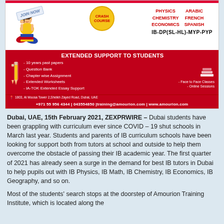[Figure (infographic): Advertisement for Amourion Training Institute showing a girl studying, crash course badge, subjects (Physics, Chemistry, Economics, Arabic, French, Spanish), IB-DP(SL-HL)-MYP-PYP banner, extended support list, contact info]
Dubai, UAE, 15th February 2021, ZEXPRWIRE – Dubai students have been grappling with curriculum ever since COVID – 19 shut schools in March last year. Students and parents of IB curriculum schools have been looking for support both from tutors at school and outside to help them overcome the obstacle of passing their IB academic year. The first quarter of 2021 has already seen a surge in the demand for best IB tutors in Dubai to help pupils out with IB Physics, IB Math, IB Chemistry, IB Economics, IB Geography, and so on.
Most of the students' search stops at the doorstep of Amourion Training Institute, which is located along the